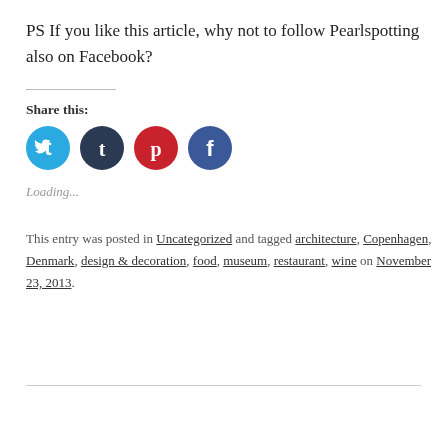PS If you like this article, why not to follow Pearlspotting also on Facebook?
Share this:
[Figure (other): Four social media icon buttons: Twitter (blue), Tumblr (dark navy), Pinterest (red), Facebook (blue)]
Loading...
This entry was posted in Uncategorized and tagged architecture, Copenhagen, Denmark, design & decoration, food, museum, restaurant, wine on November 23, 2013.